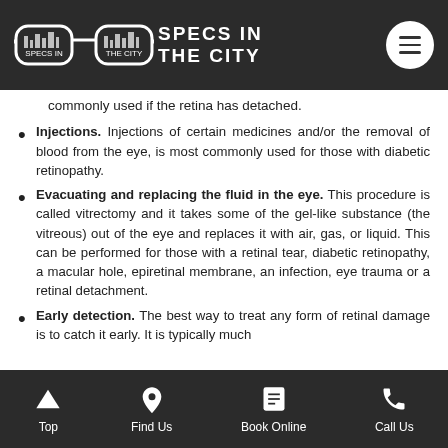SPECS IN THE CITY
commonly used if the retina has detached.
Injections. Injections of certain medicines and/or the removal of blood from the eye, is most commonly used for those with diabetic retinopathy.
Evacuating and replacing the fluid in the eye. This procedure is called vitrectomy and it takes some of the gel-like substance (the vitreous) out of the eye and replaces it with air, gas, or liquid. This can be performed for those with a retinal tear, diabetic retinopathy, a macular hole, epiretinal membrane, an infection, eye trauma or a retinal detachment.
Early detection. The best way to treat any form of retinal damage is to catch it early. It is typically much
Top | Find Us | Book Online | Call Us